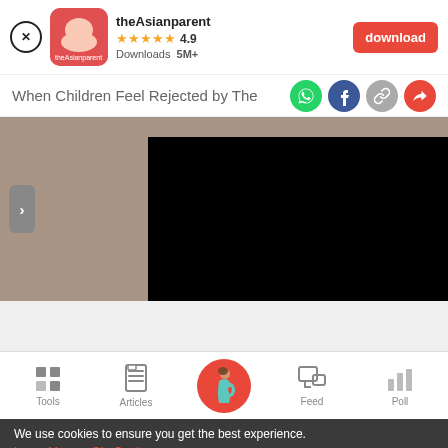[Figure (screenshot): App download banner for theAsianparent app with close button, app icon, name, 4.9 star rating, 5M+ downloads, and red download button]
When Children Feel Rejected by The
[Figure (screenshot): Article content area with tan/brown background, next arrow button, and black video/image box on the right]
[Figure (screenshot): Bottom navigation bar with Tools, Articles, Home (pregnant woman icon in red circle), Feed, and Poll icons]
We use cookies to ensure you get the best experience.
Learn More   Ok, Got it